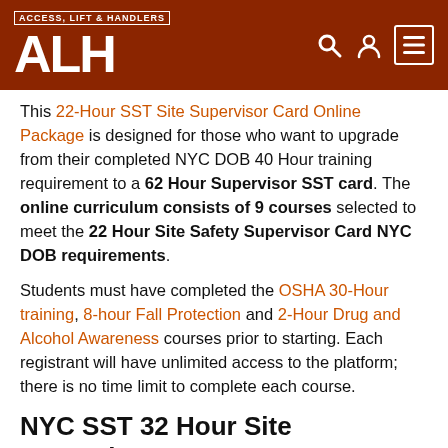ACCESS, LIFT & HANDLERS — ALH
This 22-Hour SST Site Supervisor Card Online Package is designed for those who want to upgrade from their completed NYC DOB 40 Hour training requirement to a 62 Hour Supervisor SST card. The online curriculum consists of 9 courses selected to meet the 22 Hour Site Safety Supervisor Card NYC DOB requirements.
Students must have completed the OSHA 30-Hour training, 8-hour Fall Protection and 2-Hour Drug and Alcohol Awareness courses prior to starting. Each registrant will have unlimited access to the platform; there is no time limit to complete each course.
NYC SST 32 Hour Site Supervisor (Online course)